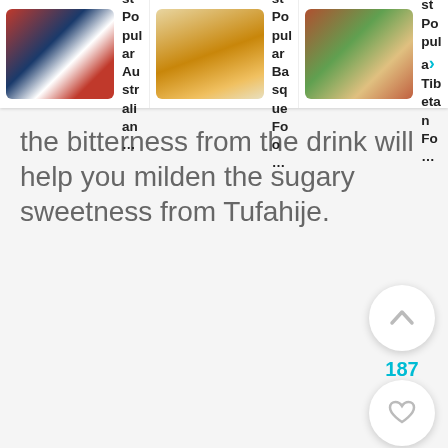[Figure (screenshot): Website navigation header showing three food article cards: '36 Most Popular Australian...' with food image, '20+ Most Popular Basque Foo...' with food image, '10+ Most Popular Tibetan Fo...' with food image]
the bitterness from the drink will help you milden the sugary sweetness from Tufahije.
[Figure (other): Up-arrow upvote button (white circle with grey chevron up)]
187
[Figure (other): Heart/like button (white circle with grey heart icon)]
[Figure (other): Search button (cyan circle with white magnifying glass icon)]